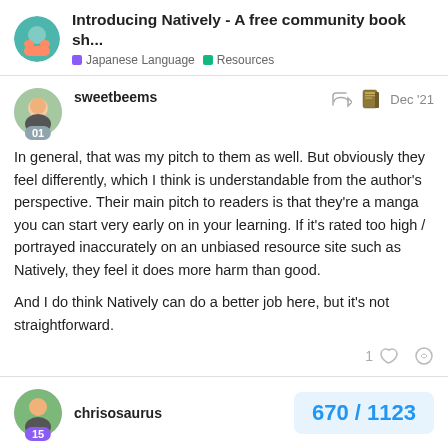Introducing Natively - A free community book sh... | Japanese Language | Resources
sweetbeems · Dec '21

In general, that was my pitch to them as well. But obviously they feel differently, which I think is understandable from the author's perspective. Their main pitch to readers is that they're a manga you can start very early on in your learning. If it's rated too high / portrayed inaccurately on an unbiased resource site such as Natively, they feel it does more harm than good.

And I do think Natively can do a better job here, but it's not straightforward.
chrisosaurus · 670 / 1123